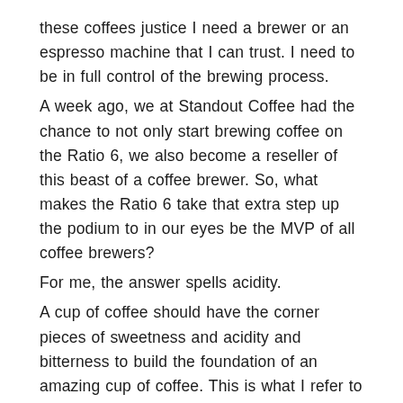these coffees justice I need a brewer or an espresso machine that I can trust. I need to be in full control of the brewing process.
A week ago, we at Standout Coffee had the chance to not only start brewing coffee on the Ratio 6, we also become a reseller of this beast of a coffee brewer. So, what makes the Ratio 6 take that extra step up the podium to in our eyes be the MVP of all coffee brewers?
For me, the answer spells acidity.
A cup of coffee should have the corner pieces of sweetness and acidity and bitterness to build the foundation of an amazing cup of coffee. This is what I refer to as taste balance. What really stands out when we brew on the Ratio 6 is the clear and vibrant acidity that we find in our cups, and I am quite confident that the closed brewing chamber with the